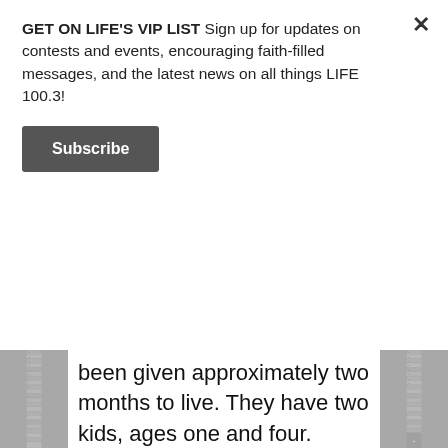GET ON LIFE'S VIP LIST Sign up for updates on contests and events, encouraging faith-filled messages, and the latest news on all things LIFE 100.3!
Subscribe
been given approximately two months to live. They have two kids, ages one and four.
My aunt (his) mom also has serious health complications.
My son, cousin, brother's wife, plus an another uncle are all out of work right now due to the Covid-19 virus.
So I'm asking that you please pray for these family members as they are all